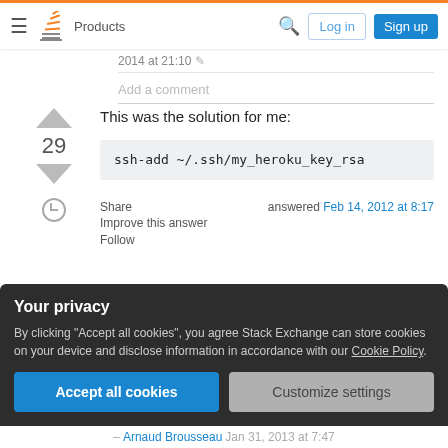≡  [Stack Overflow logo]  Products  🔍  Log in  Sign up
2014 at 21:10 ✎
Add a comment
This was the solution for me:
ssh-add ~/.ssh/my_heroku_key_rsa
Share   answered Feb 14, 2012 at 8:17
Improve this answer
Follow
Your privacy
By clicking "Accept all cookies", you agree Stack Exchange can store cookies on your device and disclose information in accordance with our Cookie Policy.
Accept all cookies   Customize settings
– Arnaud Brousseau Jan 31, 2013 at 7:47